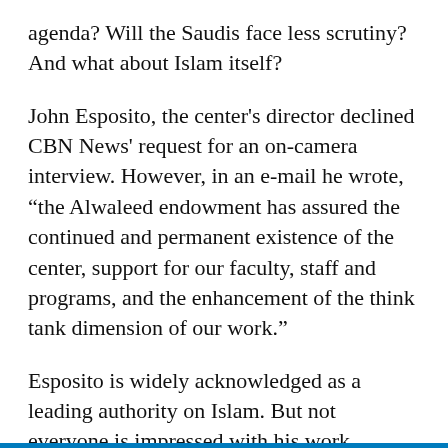agenda? Will the Saudis face less scrutiny? And what about Islam itself?
John Esposito, the center's director declined CBN News' request for an on-camera interview. However, in an e-mail he wrote, "the Alwaleed endowment has assured the continued and permanent existence of the center, support for our faculty, staff and programs, and the enhancement of the think tank dimension of our work."
Esposito is widely acknowledged as a leading authority on Islam. But not everyone is impressed with his work.
“John Esposito, going back to the 1990s, was